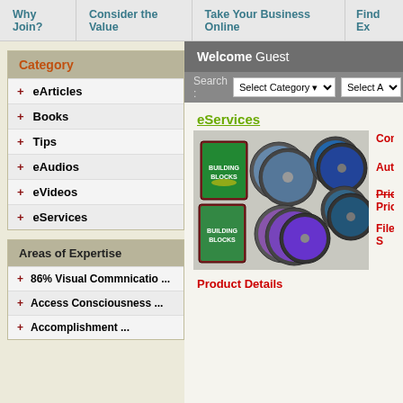Why Join? | Consider the Value | Take Your Business Online | Find Exp
Welcome Guest
Category
+ eArticles
+ Books
+ Tips
+ eAudios
+ eVideos
+ eServices
Areas of Expertise
+ 86% Visual Commnicatio ...
+ Access Consciousness ...
+ Accomplishment ...
eServices
[Figure (photo): Collection of Building Blocks CD/DVD products displayed]
Comp
Autho
Price-
Price
File S
Product Details